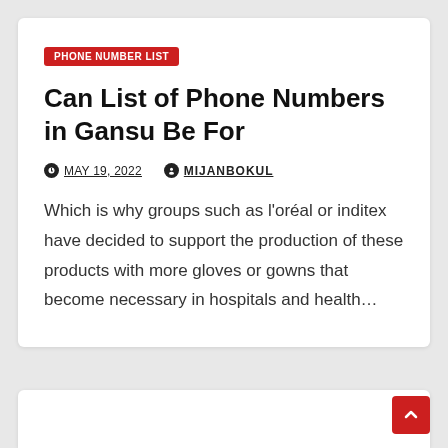PHONE NUMBER LIST
Can List of Phone Numbers in Gansu Be For
MAY 19, 2022   MIJANBOKUL
Which is why groups such as l'oréal or inditex have decided to support the production of these products with more gloves or gowns that become necessary in hospitals and health…